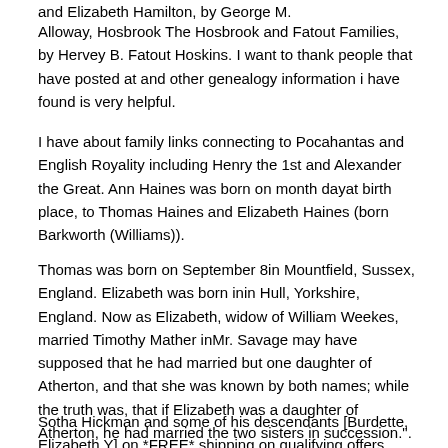and Elizabeth Hamilton, by George M.
Alloway, Hosbrook The Hosbrook and Fatout Families, by Hervey B. Fatout Hoskins. I want to thank people that have posted at and other genealogy information i have found is very helpful.
I have about family links connecting to Pocahantas and English Royality including Henry the 1st and Alexander the Great. Ann Haines was born on month dayat birth place, to Thomas Haines and Elizabeth Haines (born Barkworth (Williams)).
Thomas was born on September 8in Mountfield, Sussex, England. Elizabeth was born inin Hull, Yorkshire, England. Now as Elizabeth, widow of William Weekes, married Timothy Mather inMr. Savage may have supposed that he had married but one daughter of Atherton, and that she was known by both names; while the truth was, that if Elizabeth was a daughter of Atherton, he had married the two sisters in succession.".
Sotha Hickman and some of his descendants [Burdette, Elizabeth Y] on *FREE* shipping on qualifying offers. Sotha Hickman and some of